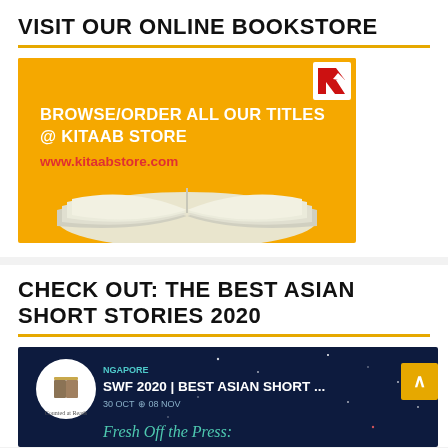VISIT OUR ONLINE BOOKSTORE
[Figure (illustration): Kitaab bookstore advertisement banner: open book on yellow/orange background with text 'BROWSE/ORDER ALL OUR TITLES @ KITAAB STORE' and 'www.kitaabstore.com', with red Kitaab logo in top right corner]
CHECK OUT: THE BEST ASIAN SHORT STORIES 2020
[Figure (screenshot): Dark blue/navy background screenshot showing 'SWF 2020 | BEST ASIAN SHORT ...' with logo on left, dates '30 OCT - 08 NOV', and text 'Fresh Off the Press:' in teal/green at bottom. Yellow square with up arrow on right.]